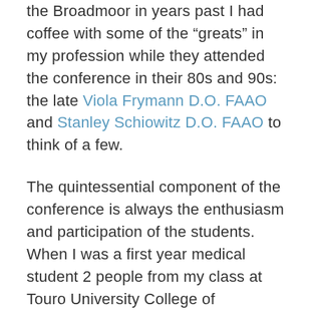the Broadmoor in years past I had coffee with some of the “greats” in my profession while they attended the conference in their 80s and 90s: the late Viola Frymann D.O. FAAO and Stanley Schiowitz D.O. FAAO to think of a few.
The quintessential component of the conference is always the enthusiasm and participation of the students. When I was a first year medical student 2 people from my class at Touro University College of Osteopathic Medicine in Vallejo, CA attended. Now, annually 50-75 students from Touro attend. The students are in awe of the magic of our hands on art, they are seeking expertise and kernels of treatment recommendations. There are nights when “stars and stripes” get together